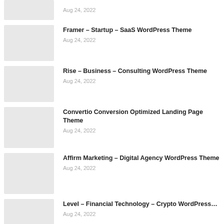Aug 24, 2022
Framer – Startup – SaaS WordPress Theme
Aug 24, 2022
Rise – Business – Consulting WordPress Theme
Aug 24, 2022
Convertio Conversion Optimized Landing Page Theme
Aug 24, 2022
Affirm Marketing – Digital Agency WordPress Theme
Aug 24, 2022
Level – Financial Technology – Crypto WordPress…
Aug 24, 2022